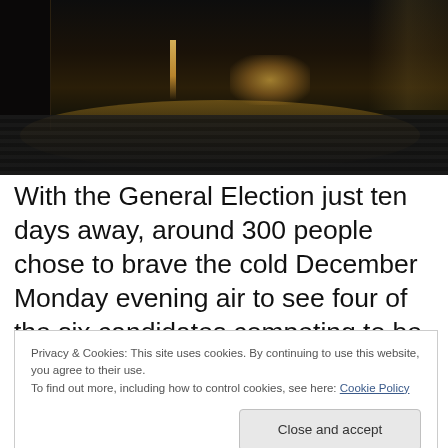[Figure (photo): Night-time photo of a wet cobblestone street with warm light reflections, dark archway on the left, historic building facade visible in background]
With the General Election just ten days away, around 300 people chose to brave the cold December Monday evening air to see four of the six candidates competing to be Exeter's next MP answer a selection of selected
Privacy & Cookies: This site uses cookies. By continuing to use this website, you agree to their use.
To find out more, including how to control cookies, see here: Cookie Policy

Close and accept